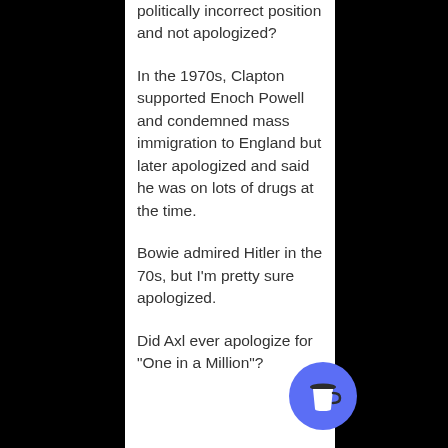politically incorrect position and not apologized?
In the 1970s, Clapton supported Enoch Powell and condemned mass immigration to England but later apologized and said he was on lots of drugs at the time.
Bowie admired Hitler in the 70s, but I'm pretty sure apologized.
Did Axl ever apologize for "One in a Million"?...